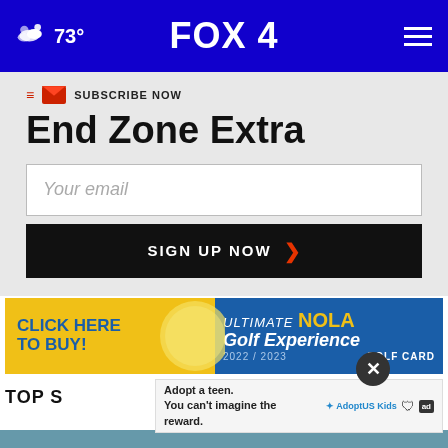73° FOX 4
SUBSCRIBE NOW
End Zone Extra
Your email
SIGN UP NOW
[Figure (infographic): Golf advertisement: CLICK HERE TO BUY! ULTIMATE NOLA Golf Experience 2022/2023 GOLF CARD]
TOP S...
Adopt a teen. You can't imagine the reward.